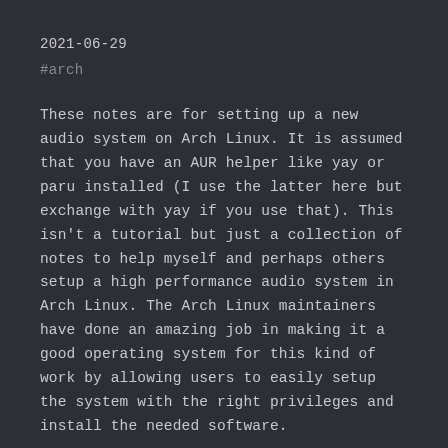2021-06-29
#arch
These notes are for setting up a new audio system on Arch Linux. It is assumed that you have an AUR helper like yay or paru installed (I use the latter here but exchange with yay if you use that). This isn't a tutorial but just a collection of notes to help myself and perhaps others setup a high performance audio system in Arch Linux. The Arch Linux maintainers have done an amazing job in making it a good operating system for this kind of work by allowing users to easily setup the system with the right privileges and install the needed software.
Read more →